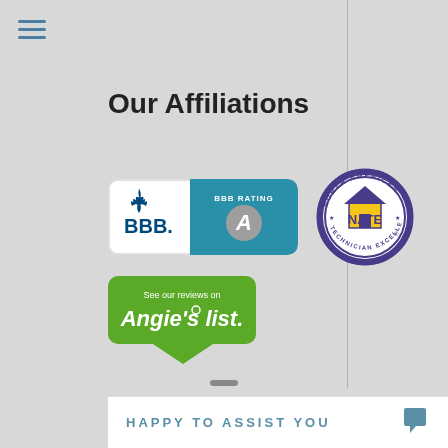[Figure (logo): Hamburger menu icon with three horizontal teal lines]
Our Affiliations
[Figure (logo): BBB Better Business Bureau badge with BBB Rating A]
[Figure (logo): NATE North American Technician Excellence circular badge]
[Figure (logo): Angie's List green badge: See our reviews on Angie's list.]
HAPPY TO ASSIST YOU